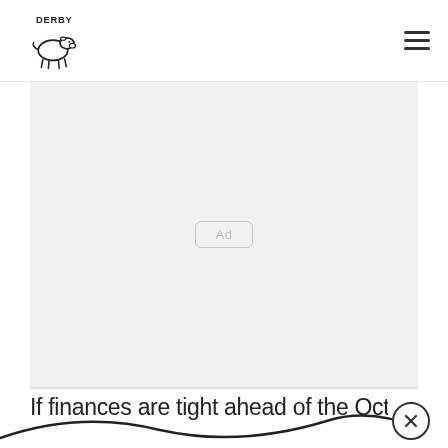DERBY [logo with cow icon] [hamburger menu]
[Figure (other): Advertisement placeholder box with 'Ad' label centered in a light gray rectangle]
If finances are tight ahead of the October 1C